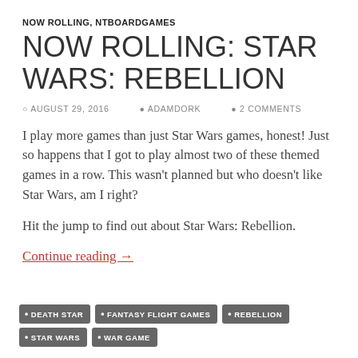NOW ROLLING, NTBOARDGAMES
NOW ROLLING: STAR WARS: REBELLION
AUGUST 29, 2016   ADAMDORK   2 COMMENTS
I play more games than just Star Wars games, honest! Just so happens that I got to play almost two of these themed games in a row. This wasn't planned but who doesn't like Star Wars, am I right?
Hit the jump to find out about Star Wars: Rebellion.
Continue reading →
DEATH STAR   FANTASY FLIGHT GAMES   REBELLION   STAR WARS   WAR GAME